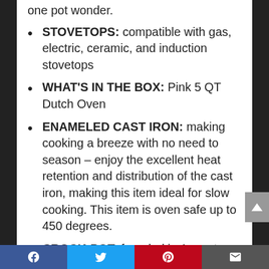STOVETOPS: compatible with gas, electric, ceramic, and induction stovetops
WHAT'S IN THE BOX: Pink 5 QT Dutch Oven
ENAMELED CAST IRON: making cooking a breeze with no need to season – enjoy the excellent heat retention and distribution of the cast iron, making this item ideal for slow cooking. This item is oven safe up to 450 degrees.
CROCK-POT: founded in August 1970, Crock-Pot introduced the